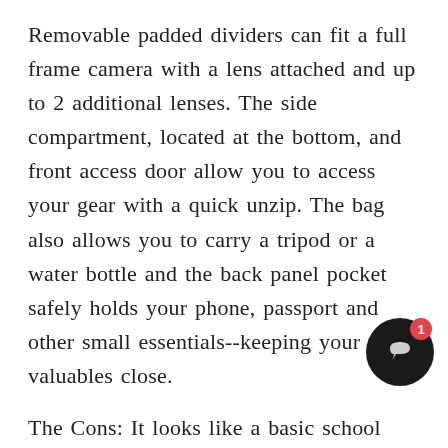Removable padded dividers can fit a full frame camera with a lens attached and up to 2 additional lenses. The side compartment, located at the bottom, and front access door allow you to access your gear with a quick unzip. The bag also allows you to carry a tripod or a water bottle and the back panel pocket safely holds your phone, passport and other small essentials--keeping your valuables close.
The Cons: It looks like a basic school bag; and for a camera backpack, The Jumper isn't too spacious, so it won't hold much of your
Style: ★★★☆☆